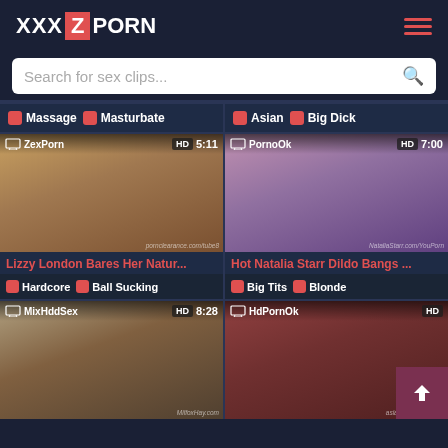XXX Z PORN
Search for sex clips...
Massage  Masturbate
Asian  Big Dick
[Figure (screenshot): Video thumbnail: ZexPorn HD 5:11 - Lizzy London Bares Her Natur...]
[Figure (screenshot): Video thumbnail: PornoOk HD 7:00 - Hot Natalia Starr Dildo Bangs ...]
Hardcore  Ball Sucking
Big Tits  Blonde
[Figure (screenshot): Video thumbnail: MixHddSex HD 8:28]
[Figure (screenshot): Video thumbnail: HdPornOk HD]